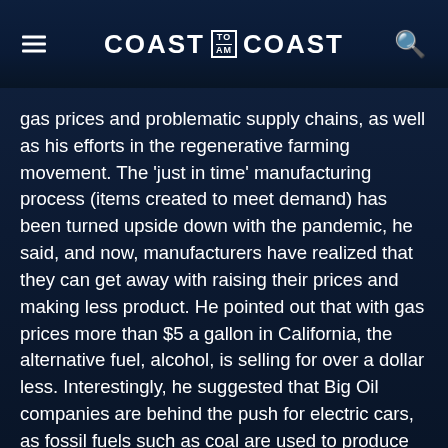COAST TO AM COAST
gas prices and problematic supply chains, as well as his efforts in the regenerative farming movement. The 'just in time' manufacturing process (items created to meet demand) has been turned upside down with the pandemic, he said, and now, manufacturers have realized that they can get away with raising their prices and making less product. He pointed out that with gas prices more than $5 a gallon in California, the alternative fuel, alcohol, is selling for over a dollar less. Interestingly, he suggested that Big Oil companies are behind the push for electric cars, as fossil fuels such as coal are used to produce the electricity needed to run the vehicles.
Meeting Richard Branson, he found out that the British business magnate was very interested in Blume's method for converting diesel generators into alcohol (Branson